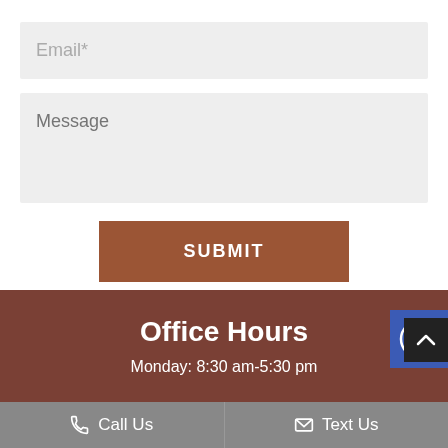Email*
Message
SUBMIT
[Figure (illustration): Accessibility widget icon - circular person with arms extended inside a blue square]
Office Hours
Monday: 8:30 am-5:30 pm
Call Us
Text Us